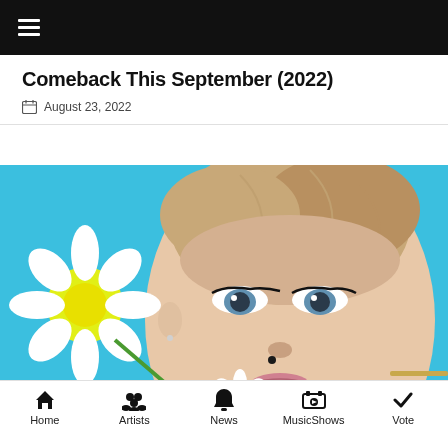≡ (navigation menu icon)
Comeback This September (2022)
August 23, 2022
[Figure (photo): Close-up portrait of a young Asian woman with light brown hair pulled up, striking eye makeup, holding white daisy flowers against a bright blue background.]
Home  Artists  News  MusicShows  Vote